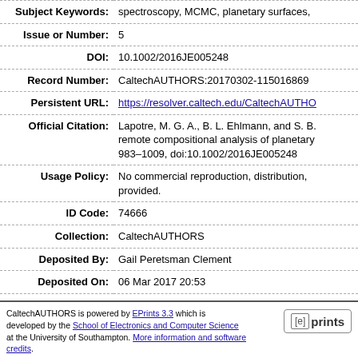| Field | Value |
| --- | --- |
| Subject Keywords: | spectroscopy, MCMC, planetary surfaces, |
| Issue or Number: | 5 |
| DOI: | 10.1002/2016JE005248 |
| Record Number: | CaltechAUTHORS:20170302-115016869 |
| Persistent URL: | https://resolver.caltech.edu/CaltechAUTHO |
| Official Citation: | Lapotre, M. G. A., B. L. Ehlmann, and S. B... remote compositional analysis of planetary... 983–1009, doi:10.1002/2016JE005248 |
| Usage Policy: | No commercial reproduction, distribution, provided. |
| ID Code: | 74666 |
| Collection: | CaltechAUTHORS |
| Deposited By: | Gail Peretsman Clement |
| Deposited On: | 06 Mar 2017 20:53 |
| Last Modified: | 11 Nov 2021 05:28 |
CaltechAUTHORS is powered by EPrints 3.3 which is developed by the School of Electronics and Computer Science at the University of Southampton. More information and software credits.